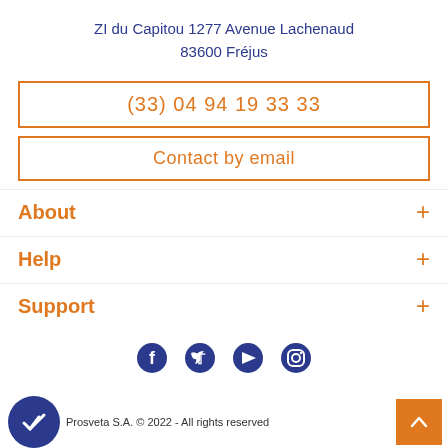ZI du Capitou 1277 Avenue Lachenaud
83600 Fréjus
(33) 04 94 19 33 33
Contact by email
About
Help
Support
[Figure (infographic): Social media icons: Facebook, Twitter, YouTube, Instagram]
Prosveta S.A. © 2022 - All rights reserved